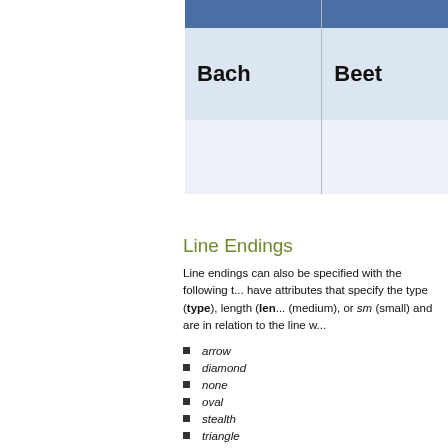| Bach | Beet... |
| --- | --- |
|  |  |
Line Endings
Line endings can also be specified with the following t... have attributes that specify the type (type), length (len... (medium), or sm (small) and are in relation to the line w...
arrow
diamond
none
oval
stealth
triangle
Below is a sample top border with an oval head end a...
<a:tcPr>
    <a:lnT w="76200" cap="flat" cmpd="sng" alg...
        . . .
        <a:headEnd type="oval" w="med" len="m...
        <a:tailEnd type="arrow" w="med" len="m...